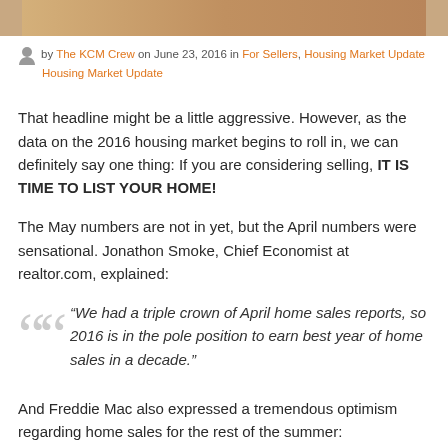[Figure (photo): Partial photo strip at top of page showing a home/moving scene]
by The KCM Crew on June 23, 2016 in For Sellers, Housing Market Update
That headline might be a little aggressive. However, as the data on the 2016 housing market begins to roll in, we can definitely say one thing: If you are considering selling, IT IS TIME TO LIST YOUR HOME!
The May numbers are not in yet, but the April numbers were sensational. Jonathon Smoke, Chief Economist at realtor.com, explained:
“We had a triple crown of April home sales reports, so 2016 is in the pole position to earn best year of home sales in a decade.”
And Freddie Mac also expressed a tremendous optimism regarding home sales for the rest of the summer: